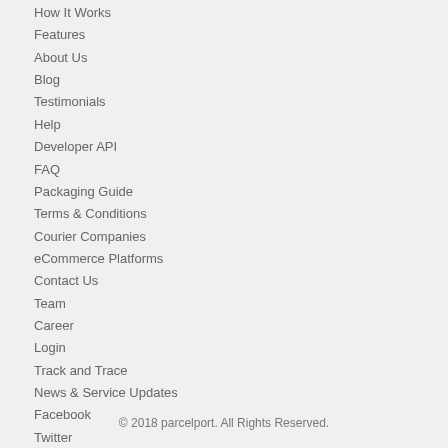How It Works
Features
About Us
Blog
Testimonials
Help
Developer API
FAQ
Packaging Guide
Terms & Conditions
Courier Companies
eCommerce Platforms
Contact Us
Team
Career
Login
Track and Trace
News & Service Updates
Facebook
Twitter
© 2018 parcelport. All Rights Reserved.